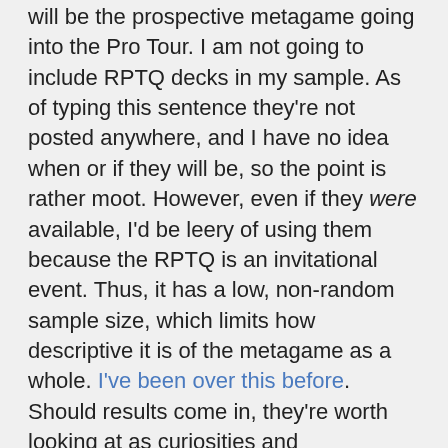will be the prospective metagame going into the Pro Tour. I am not going to include RPTQ decks in my sample. As of typing this sentence they're not posted anywhere, and I have no idea when or if they will be, so the point is rather moot. However, even if they were available, I'd be leery of using them because the RPTQ is an invitational event. Thus, it has a low, non-random sample size, which limits how descriptive it is of the metagame as a whole. I've been over this before. Should results come in, they're worth looking at as curiosities and deckbuilding exercises, but I'm skeptical of their value to this data set.
Assessing Ixalan Acquisitions
Every time a new set comes out, everyone has to get in on reading into the new cards. And why not? It's fun to guess